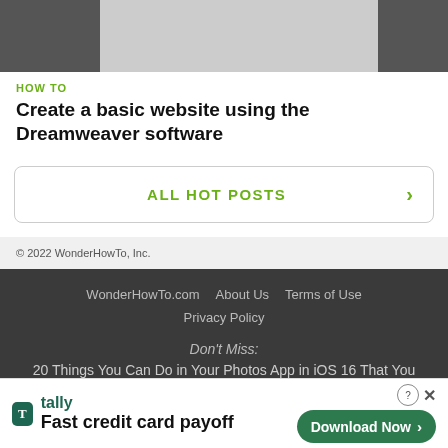[Figure (screenshot): Screenshot banner image at top of page — left and right portions dark grey, center portion lighter grey]
HOW TO
Create a basic website using the Dreamweaver software
ALL HOT POSTS >
© 2022 WonderHowTo, Inc.
WonderHowTo.com   About Us   Terms of Use   Privacy Policy
Don't Miss:
20 Things You Can Do in Your Photos App in iOS 16 That You Couldn't Do Before
[Figure (screenshot): Tally advertisement banner — tally app logo and 'Fast credit card payoff' tagline on left, 'Download Now' button on right with close icons]